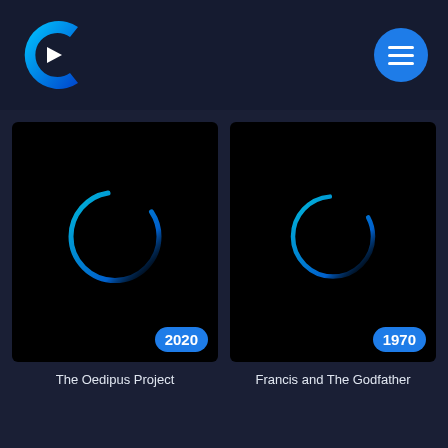[Figure (logo): Crunchyroll-style C logo in blue and white on dark navy header background]
[Figure (illustration): Dark movie card with blue loading spinner arc and year badge '2020' for The Oedipus Project]
The Oedipus Project
[Figure (illustration): Dark movie card with blue loading spinner arc and year badge '1970' for Francis and The Godfather]
Francis and The Godfather